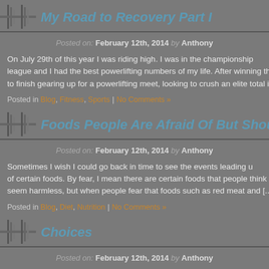My Road to Recovery Part I
Posted on: February 12th, 2014 by Anthony
On July 29th of this year I was riding high. I was in the championship league and I had the best powerlifting numbers of my life. After winning thi to finish gearing up for a powerlifting meet, looking to crush an elite total in
Posted in Blog, Fitness, Sports | No Comments »
Foods People Are Afraid Of But Should Not B
Posted on: February 12th, 2014 by Anthony
Sometimes I wish I could go back in time to see the events leading u of certain foods. By fear, I mean there are certain foods that people think a seem harmless, but when people fear that foods such as red meat and [...]
Posted in Blog, Diet, Nutrition | No Comments »
Choices
Posted on: February 12th, 2014 by Anthony
When it comes to improving your health and fitness, everything come try to make excuses; blaming their poor choices on things like lack of time many individuals have time restrictions that might pose a challenge to thei most part [...]